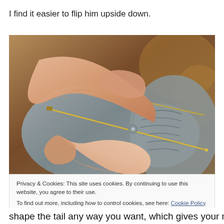I find it easier to flip him upside down.
[Figure (photo): Close-up photograph of hands working with knitting needles, sewing through gray knitted fabric with a metal needle. A brown wooden object is visible in the background.]
Privacy & Cookies: This site uses cookies. By continuing to use this website, you agree to their use.
To find out more, including how to control cookies, see here: Cookie Policy
shape the tail any way you want, which gives your mouse